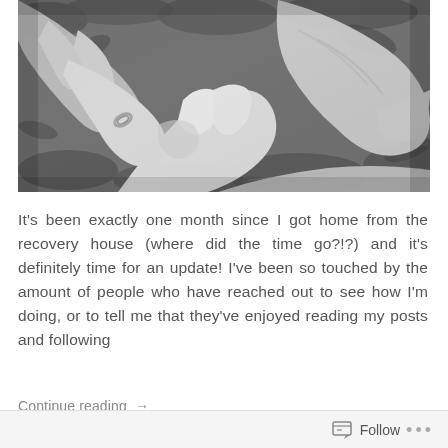[Figure (photo): Black and white photograph of multiple hands held together on a grassy background, showing intergenerational hands including one with a ring.]
It's been exactly one month since I got home from the recovery house (where did the time go?!?) and it's definitely time for an update! I've been so touched by the amount of people who have reached out to see how I'm doing, or to tell me that they've enjoyed reading my posts and following
Continue reading →
Follow